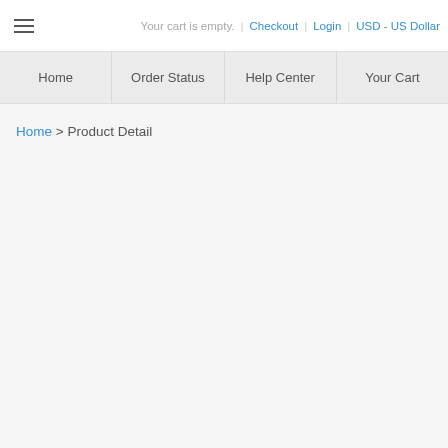Your cart is empty.  |  Checkout  |  Login  |  USD - US Dollar
Home  Order Status  Help Center  Your Cart
Home > Product Detail